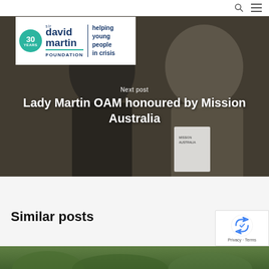Sir David Martin Foundation – helping young people in crisis
[Figure (photo): Hero image showing two women posing together, one holding a Mission Australia document, overlaid with the Sir David Martin Foundation logo (30 Years) and next post navigation text]
Next post
Lady Martin OAM honoured by Mission Australia
Similar posts
[Figure (photo): Partial bottom image strip showing green foliage, beginning of a 'Similar posts' thumbnail]